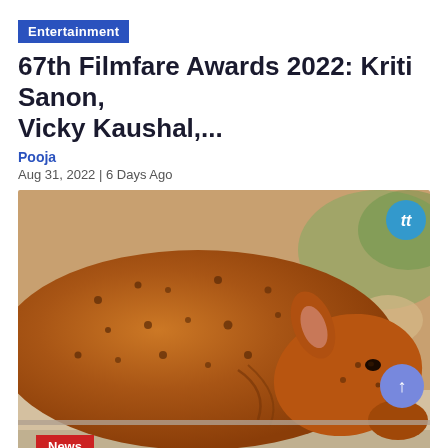Entertainment
67th Filmfare Awards 2022: Kriti Sanon, Vicky Kaushal,...
Pooja
Aug 31, 2022 | 6 Days Ago
[Figure (photo): A brown cow resting its head on a ledge, with dark spots/marks on its skin, photographed close-up from the side. A blue circular logo watermark is visible in the top-right corner.]
News